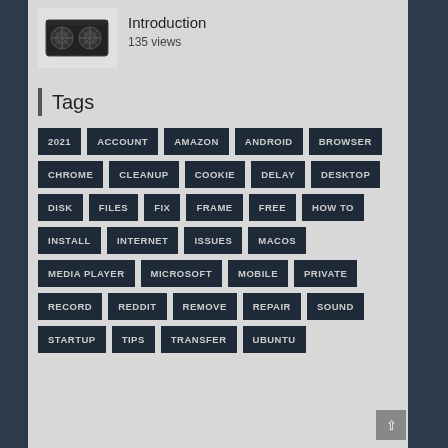[Figure (photo): Thumbnail image of a graphics card (GPU)]
Introduction
135 views
Tags
2021
ACCOUNT
AMAZON
ANDROID
BROWSER
CHROME
CLEANUP
COOKIE
DELAY
DESKTOP
DISK
FILES
FIX
FRAME
FREE
HOW TO
INSTALL
INTERNET
ISSUES
MACOS
MEDIA PLAYER
MICROSOFT
MOBILE
PRIVATE
RECORD
REDDIT
REMOVE
REPAIR
SOUND
STARTUP
TIPS
TRANSFER
UBUNTU